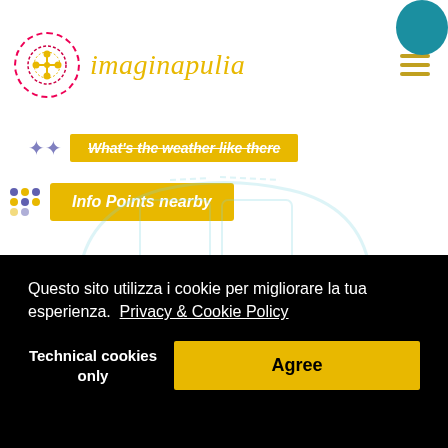imaginapulia
What's the weather like there
Info Points nearby
[Figure (illustration): Light teal car outline illustration used as background graphic]
Questo sito utilizza i cookie per migliorare la tua esperienza. Privacy & Cookie Policy
Technical cookies only
Agree
Miggiano